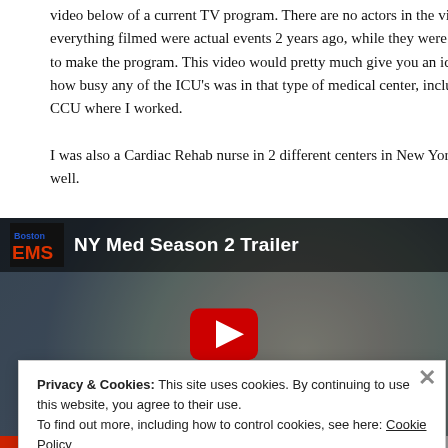video below of a current TV program. There are no actors in the video, everything filmed were actual events 2 years ago, while they were to make the program. This video would pretty much give you an idea how busy any of the ICU's was in that type of medical center, including the CCU where I worked.

I was also a Cardiac Rehab nurse in 2 different centers in New York as well.
[Figure (screenshot): Embedded YouTube video thumbnail showing 'NY Med Season 2 Trailer' with a medical professional wearing glasses and a surgical mask, with a play button overlay. Boston EMS logo in top left corner.]
Privacy & Cookies: This site uses cookies. By continuing to use this website, you agree to their use.
To find out more, including how to control cookies, see here: Cookie Policy